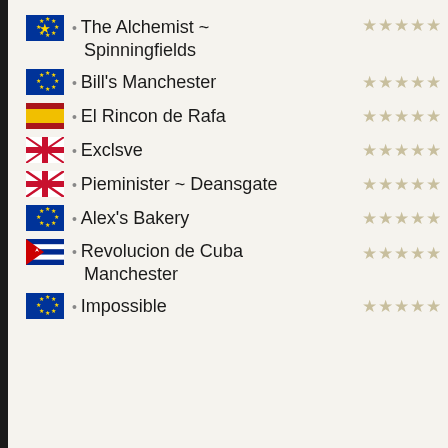The Alchemist ~ Spinningfields
Bill's Manchester
El Rincon de Rafa
Exclsve
Pieminister ~ Deansgate
Alex's Bakery
Revolucion de Cuba Manchester
Impossible